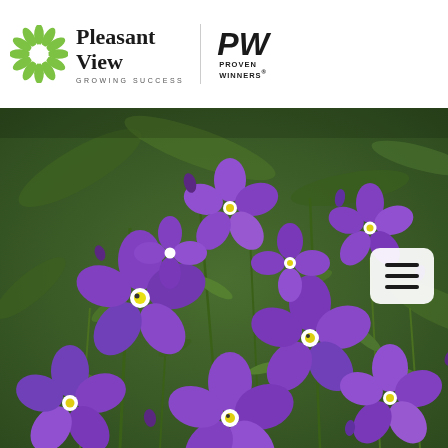[Figure (logo): Pleasant View Growers logo with green flower/daisy icon and company name in serif font, with 'GROWING SUCCESS' tagline, alongside Proven Winners 'PW' logo in italic bold font]
[Figure (photo): Close-up photograph of vibrant purple Lobelia flowers with white centers and yellow stamens, surrounded by green foliage. Multiple blooms fill the frame showing dense planting.]